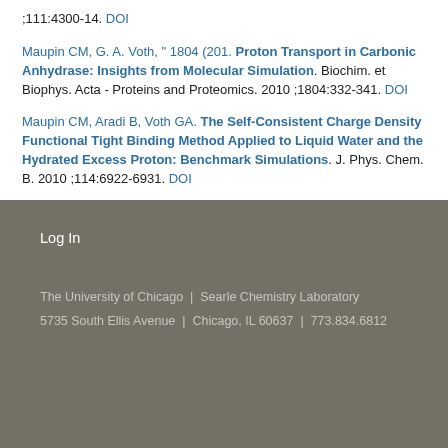;111:4300-14. DOI
Maupin CM, G. A. Voth, “ 1804 (201. Proton Transport in Carbonic Anhydrase: Insights from Molecular Simulation. Biochim. et Biophys. Acta - Proteins and Proteomics. 2010 ;1804:332-341. DOI
Maupin CM, Aradi B, Voth GA. The Self-Consistent Charge Density Functional Tight Binding Method Applied to Liquid Water and the Hydrated Excess Proton: Benchmark Simulations. J. Phys. Chem. B. 2010 ;114:6922-6931. DOI
Log In
The University of Chicago | Searle Chemistry Laboratory
5735 South Ellis Avenue | Chicago, IL 60637 | 773.834.6812